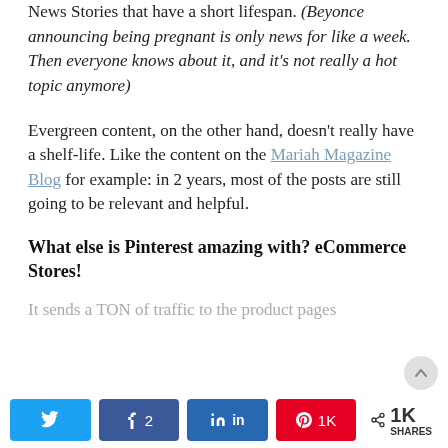News Stories that have a short lifespan. (Beyonce announcing being pregnant is only news for like a week. Then everyone knows about it, and it's not really a hot topic anymore)
Evergreen content, on the other hand, doesn't really have a shelf-life. Like the content on the Mariah Magazine Blog for example: in 2 years, most of the posts are still going to be relevant and helpful.
What else is Pinterest amazing with? eCommerce Stores!
It sends a TON of traffic to the product pages...